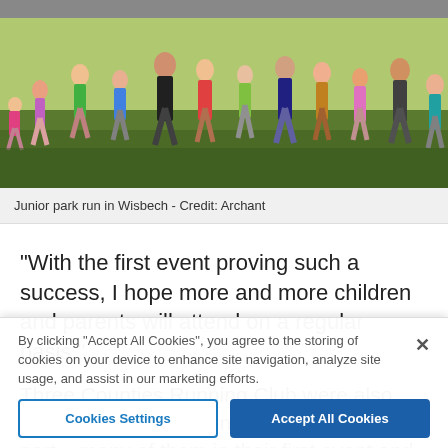[Figure (photo): A group of children and parents running outdoors on grass during a junior park run event in Wisbech]
Junior park run in Wisbech - Credit: Archant
“With the first event proving such a success, I hope more and more children and parents will attend on a regular basis.”
Three Counties Running Club were also involved, with eight junior members taking part – many of them in their first event and all achieving a course personal best.
By clicking “Accept All Cookies”, you agree to the storing of cookies on your device to enhance site navigation, analyze site usage, and assist in our marketing efforts.